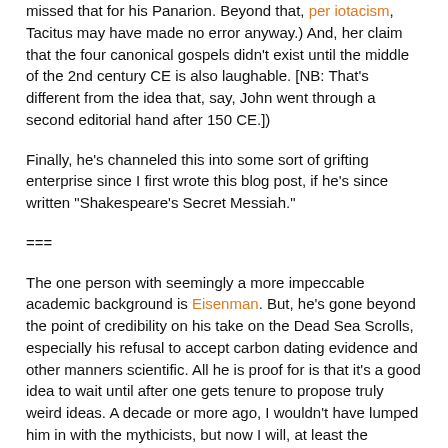missed that for his Panarion. Beyond that, per iotacism, Tacitus may have made no error anyway.) And, her claim that the four canonical gospels didn't exist until the middle of the 2nd century CE is also laughable. [NB: That's different from the idea that, say, John went through a second editorial hand after 150 CE.])
Finally, he's channeled this into some sort of grifting enterprise since I first wrote this blog post, if he's since written "Shakespeare's Secret Messiah."
===
The one person with seemingly a more impeccable academic background is Eisenman. But, he's gone beyond the point of credibility on his take on the Dead Sea Scrolls, especially his refusal to accept carbon dating evidence and other manners scientific. All he is proof for is that it's a good idea to wait until after one gets tenure to propose truly weird ideas. A decade or more ago, I wouldn't have lumped him in with the mythicists, but now I will, at least the narrower mythicists, and perhaps the full-blown denialists.